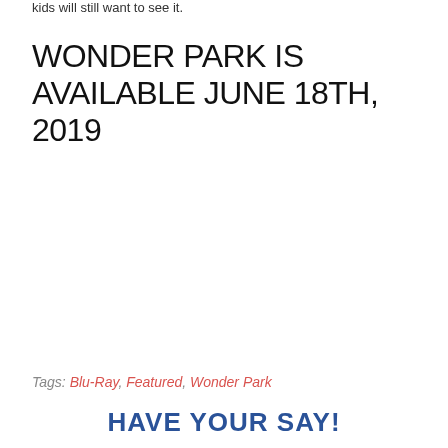kids will still want to see it.
WONDER PARK IS AVAILABLE JUNE 18TH, 2019
Tags: Blu-Ray, Featured, Wonder Park
HAVE YOUR SAY!